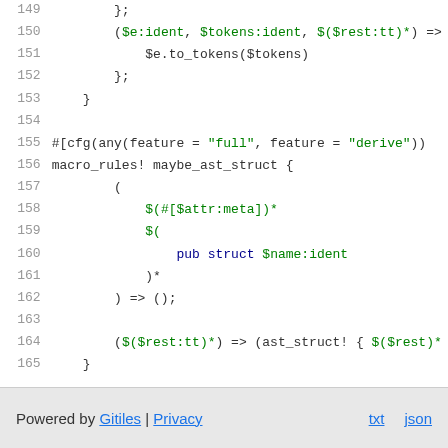Code listing lines 149-165 showing Rust macro code
Powered by Gitiles | Privacy   txt  json